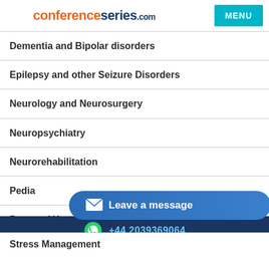conferenceseries.com MENU
Dementia and Bipolar disorders
Epilepsy and other Seizure Disorders
Neurology and Neurosurgery
Neuropsychiatry
Neurorehabilitation
Pedia...
[Figure (other): Leave a message button overlay with envelope icon]
Power of Yoga and Meditation
Psychiatry and Mental Health
+44 2039369064
Stress Management